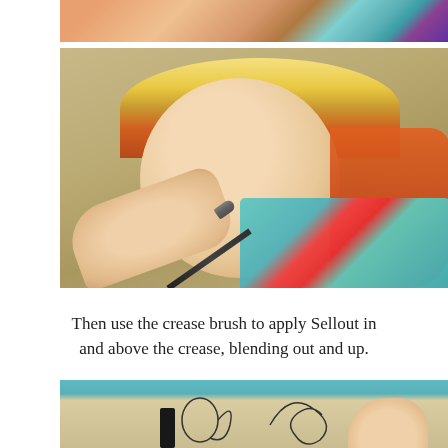[Figure (photo): Top portion of a previous photo showing eye makeup palette and cosmetic items in teal and purple tones.]
[Figure (photo): A woman with blonde and red/auburn hair applying eye makeup with a crease brush to her eyelid, smiling at camera. She is wearing a teal floral patterned top. The background is a warm tan/beige wall.]
Then use the crease brush to apply Sellout in and above the crease, blending out and up.
[Figure (photo): Close-up of a beige/cream eyeshadow compact with black swirl decorative design, with a finger touching the edge and a makeup brush applicator visible at the bottom.]